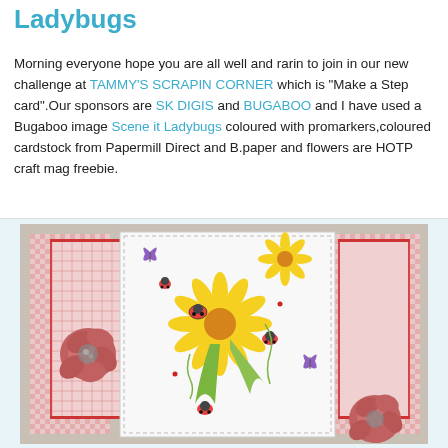Ladybugs
Morning everyone hope you are all well and rarin to join in our new challenge at TAMMY'S SCRAPIN CORNER which is "Make a Step card".Our sponsors are SK DIGIS and BUGABOO and I have used a Bugaboo image Scene it Ladybugs coloured with promarkers,coloured cardstock from Papermill Direct and B.paper and flowers are HOTP craft mag freebie.
[Figure (photo): Photo of a handmade step card featuring a Bugaboo 'Scene it Ladybugs' image with yellow flowers, ladybugs, and green leaves, mounted on red gingham patterned cardstock with decorative paper flowers.]